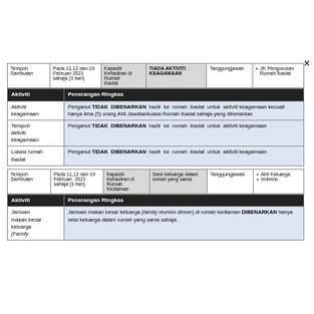| Tempoh Sambutan | Pada 11,12 dan 19 Februari 2021 sahaja (3 hari) | Kapasiti Kehadiran di Rumah Ibadat | TIADA AKTIVITI KEAGAMAAN | Tanggungjawab | JK Pengurusan Rumah Ibadat |
| --- | --- | --- | --- | --- | --- |
| Aktiviti | Penerangan Ringkas |
| --- | --- |
| Aktiviti keagamaan | Penganut TIDAK DIBENARKAN hadir ke rumah ibadat untuk aktiviti keagamaan kecuali hanya lima (5) orang Ahli Jawatankuasa Rumah ibadat sahaja yang dibenarkan |
| Tempoh aktiviti keagamaan | Penganut TIDAK DIBENARKAN hadir ke rumah ibadat untuk aktiviti keagamaan |
| Lokasi rumah ibadat | Penganut TIDAK DIBENARKAN hadir ke rumah ibadat untuk aktiviti keagamaan |
| Tempoh Sambutan | Pada 11,12 dan 19 Februari 2021 sahaja (3 hari) | Kapasiti Kehadiran di Rumah Kediaman | Seisi keluarga dalam rumah yang sama | Tanggungjawab | Ahli Keluarga, Individu |
| --- | --- | --- | --- | --- | --- |
| Aktiviti | Penerangan Ringkas |
| --- | --- |
| Jamuan makan besar keluarga (Family ... | Jamuan makan besar keluarga (family reunion dinner) di rumah kediaman DIBENARKAN hanya seisi keluarga dalam rumah yang sama sahaja. |